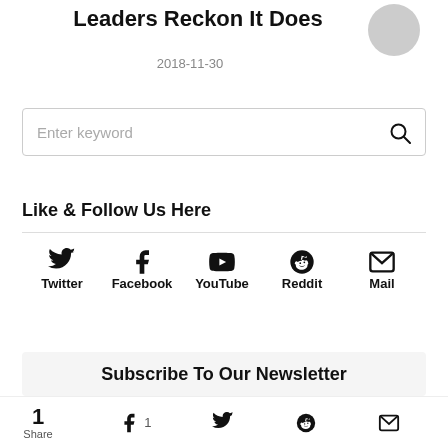Leaders Reckon It Does
2018-11-30
[Figure (other): Search box with placeholder 'Enter keyword' and search icon]
Like & Follow Us Here
[Figure (infographic): Social media icons row: Twitter, Facebook, YouTube, Reddit, Mail]
Subscribe To Our Newsletter
1 Share | Facebook 1 | Twitter | Reddit | Mail